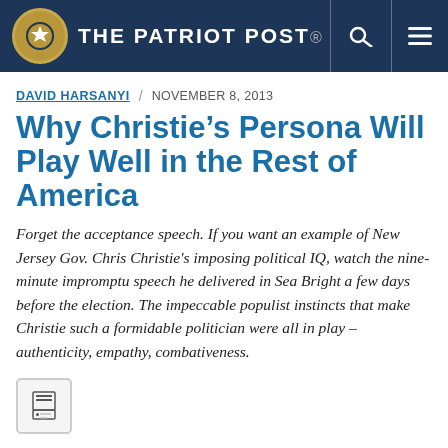The Patriot Post
DAVID HARSANYI  /  NOVEMBER 8, 2013
Why Christie's Persona Will Play Well in the Rest of America
Forget the acceptance speech. If you want an example of New Jersey Gov. Chris Christie's imposing political IQ, watch the nine-minute impromptu speech he delivered in Sea Bright a few days before the election. The impeccable populist instincts that make Christie such a formidable politician were all in play – authenticity, empathy, combativeness.
[Figure (other): Print icon button]